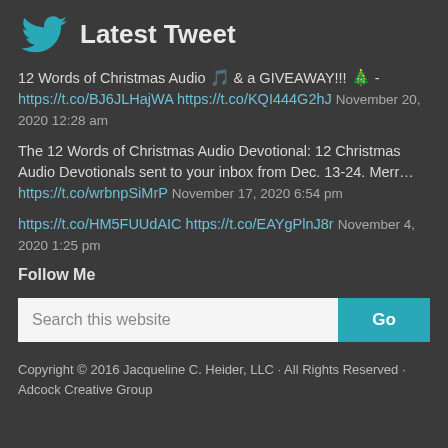Latest Tweet
12 Words of Christmas Audio 🎵 & a GIVEAWAY!!! 🎄 - https://t.co/BJ6JLHajWA https://t.co/KQI444G2hJ November 20, 2020 12:28 am
The 12 Words of Christmas Audio Devotional: 12 Christmas Audio Devotionals sent to your inbox from Dec. 13-24. Merr… https://t.co/wrbnpSiMrP November 17, 2020 6:54 pm
https://t.co/HM5FUUdAIC https://t.co/EAYgPlnJ8r November 4, 2020 1:25 pm
Follow Me
Search this website
Copyright © 2016 Jacqueline C. Heider, LLC · All Rights Reserved · Adcock Creative Group